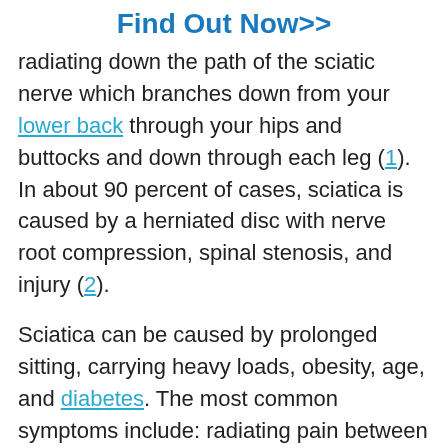Find Out Now>>
radiating down the path of the sciatic nerve which branches down from your lower back through your hips and buttocks and down through each leg (1). In about 90 percent of cases, sciatica is caused by a herniated disc with nerve root compression, spinal stenosis, and injury (2).
Sciatica can be caused by prolonged sitting, carrying heavy loads, obesity, age, and diabetes. The most common symptoms include: radiating pain between the lower back and the buttocks (although it can occur anywhere along the sciatic pathway),